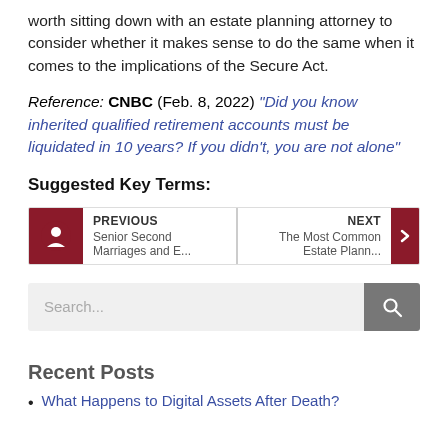worth sitting down with an estate planning attorney to consider whether it makes sense to do the same when it comes to the implications of the Secure Act.
Reference: CNBC (Feb. 8, 2022) "Did you know inherited qualified retirement accounts must be liquidated in 10 years? If you didn't, you are not alone"
Suggested Key Terms:
PREVIOUS Senior Second Marriages and E... | NEXT The Most Common Estate Plann...
Search...
Recent Posts
What Happens to Digital Assets After Death?